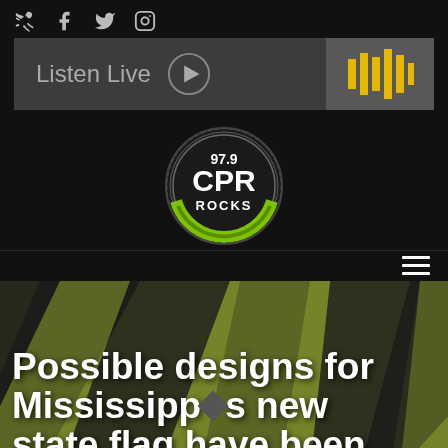Social icons: phone, facebook, twitter, instagram
[Figure (screenshot): Listen Live button with play icon and audio waveform graphic on dark background]
[Figure (logo): 97.9 CPR ROCKS radio station circular logo with green and white design]
[Figure (screenshot): Hamburger menu icon (three horizontal lines) on dark navigation bar]
Possible designs for Mississippi's new state flag have been